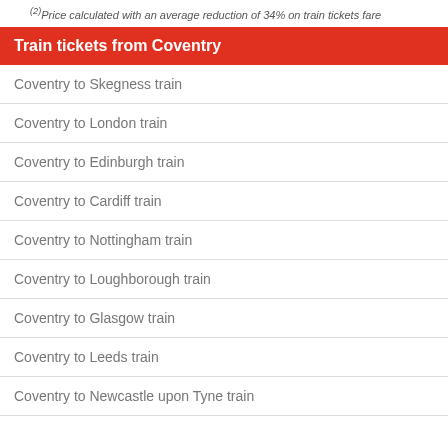(2)Price calculated with an average reduction of 34% on train tickets fare
Train tickets from Coventry
Coventry to Skegness train
Coventry to London train
Coventry to Edinburgh train
Coventry to Cardiff train
Coventry to Nottingham train
Coventry to Loughborough train
Coventry to Glasgow train
Coventry to Leeds train
Coventry to Newcastle upon Tyne train